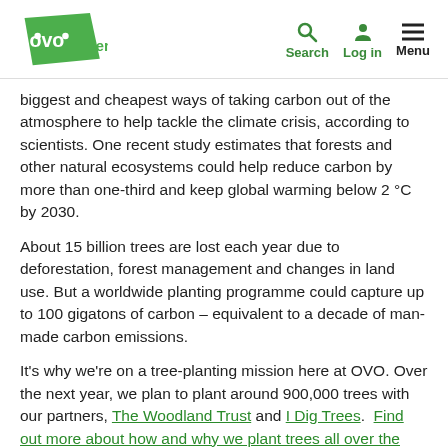OVO Energy — Search, Log in, Menu
biggest and cheapest ways of taking carbon out of the atmosphere to help tackle the climate crisis, according to scientists. One recent study estimates that forests and other natural ecosystems could help reduce carbon by more than one-third and keep global warming below 2 °C by 2030.
About 15 billion trees are lost each year due to deforestation, forest management and changes in land use. But a worldwide planting programme could capture up to 100 gigatons of carbon – equivalent to a decade of man-made carbon emissions.
It's why we're on a tree-planting mission here at OVO. Over the next year, we plan to plant around 900,000 trees with our partners, The Woodland Trust and I Dig Trees.  Find out more about how and why we plant trees all over the UK.